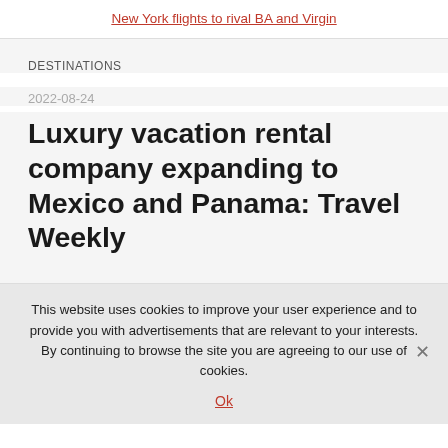New York flights to rival BA and Virgin
DESTINATIONS
2022-08-24
Luxury vacation rental company expanding to Mexico and Panama: Travel Weekly
This website uses cookies to improve your user experience and to provide you with advertisements that are relevant to your interests. By continuing to browse the site you are agreeing to our use of cookies.
Ok